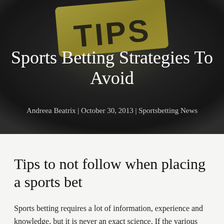[Figure (photo): Dark background with a gold/yellow card showing the word TIPS in dark letters, partially visible at the top.]
Sports Betting Strategies To Avoid
Andreea Beatrix | October 30, 2013 | Sportsbetting News
Tips to not follow when placing a sports bet
Sports betting requires a lot of information, experience and knowledge, but it is never an exact science. If the various tips on the internet would help perfect a betting